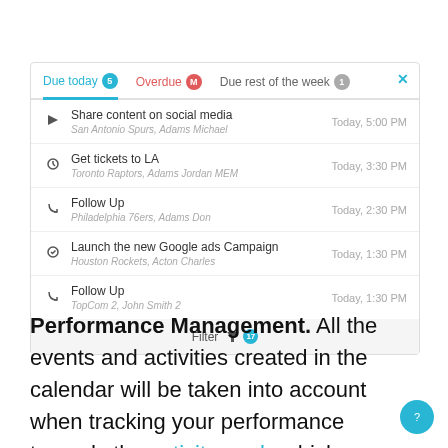[Figure (screenshot): CRM task management UI showing tabs: Due today (5), Overdue (M), Due rest of the week (1), with a list of 5 tasks each showing title, sub-label, and time, plus a Filter bar at the bottom.]
Performance Management. All the events and activities created in the calendar will be taken into account when tracking your performance towards the activity goals which you have set. Thus,